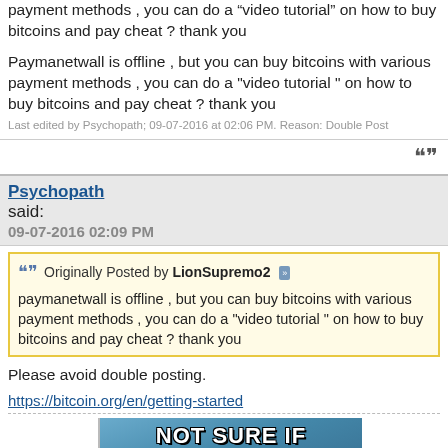payment methods , you can do a "video tutorial" on how to buy bitcoins and pay cheat ? thank you
Paymanetwall is offline , but you can buy bitcoins with various payment methods , you can do a "video tutorial " on how to buy bitcoins and pay cheat ? thank you
Last edited by Psychopath; 09-07-2016 at 02:06 PM. Reason: Double Post
Psychopath said: 09-07-2016 02:09 PM
Originally Posted by LionSupremo2 paymanetwall is offline , but you can buy bitcoins with various payment methods , you can do a "video tutorial " on how to buy bitcoins and pay cheat ? thank you
Please avoid double posting.
https://bitcoin.org/en/getting-started
[Figure (photo): Meme image with 'NOT SURE IF' text and Futurama character Fry with a suspicious squinting face, blue striped background]